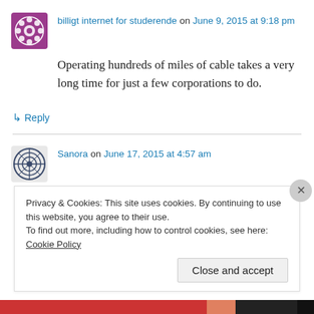billigt internet for studerende on June 9, 2015 at 9:18 pm
Operating hundreds of miles of cable takes a very long time for just a few corporations to do.
↳ Reply
Sanora on June 17, 2015 at 4:57 am
I pay a visit daily some sites and sites to read posts, but this website offers quality based
Privacy & Cookies: This site uses cookies. By continuing to use this website, you agree to their use.
To find out more, including how to control cookies, see here: Cookie Policy
Close and accept